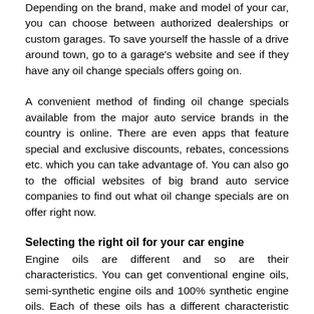Depending on the brand, make and model of your car, you can choose between authorized dealerships or custom garages. To save yourself the hassle of a drive around town, go to a garage's website and see if they have any oil change specials offers going on.
A convenient method of finding oil change specials available from the major auto service brands in the country is online. There are even apps that feature special and exclusive discounts, rebates, concessions etc. which you can take advantage of. You can also go to the official websites of big brand auto service companies to find out what oil change specials are on offer right now.
Selecting the right oil for your car engine
Engine oils are different and so are their characteristics. You can get conventional engine oils, semi-synthetic engine oils and 100% synthetic engine oils. Each of these oils has a different characteristic and is designed for a